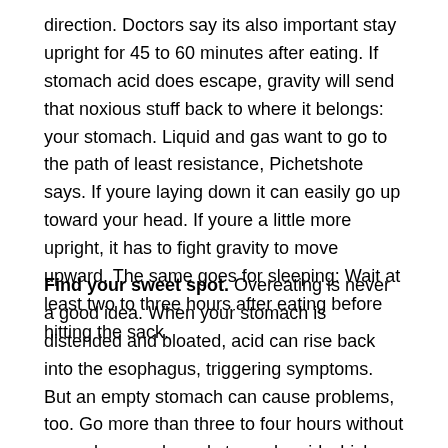direction. Doctors say its also important stay upright for 45 to 60 minutes after eating. If stomach acid does escape, gravity will send that noxious stuff back to where it belongs: your stomach. Liquid and gas want to go to the path of least resistance, Pichetshote says. If youre laying down it can easily go up toward your head. If youre a little more upright, it has to fight gravity to move upward. The same goes for sleeping: Wait at least two to three hours after eating before hitting the sack.
Find your sweet spot. Overeating is never a good idea. When your stomach is distended and bloated, acid can rise back into the esophagus, triggering symptoms. But an empty stomach can cause problems, too. Go more than three to four hours without a meal or snack, and stomach acid which would usually be used in the digestive process to break down food collects. The best approach? Eat smaller meals